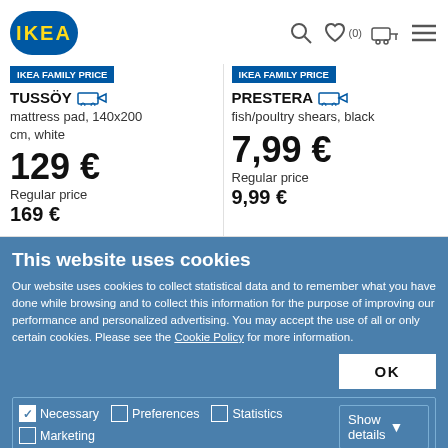IKEA logo and navigation icons
IKEA Family price
TUSSÖY — mattress pad, 140x200 cm, white — 129 € — Regular price 169 €
IKEA Family price
PRESTERA — fish/poultry shears, black — 7,99 € — Regular price 9,99 €
This website uses cookies
Our website uses cookies to collect statistical data and to remember what you have done while browsing and to collect this information for the purpose of improving our performance and personalized advertising. You may accept the use of all or only certain cookies. Please see the Cookie Policy for more information.
OK
Necessary  Preferences  Statistics  Marketing  Show details